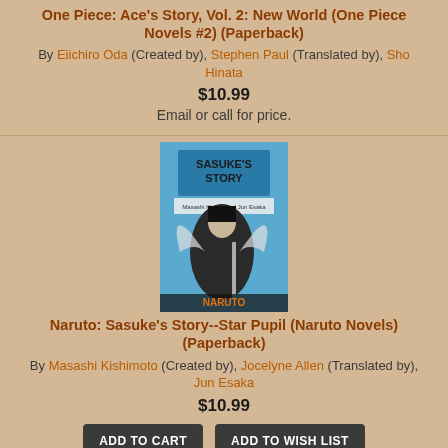One Piece: Ace's Story, Vol. 2: New World (One Piece Novels #2) (Paperback)
By Eiichiro Oda (Created by), Stephen Paul (Translated by), Sho Hinata
$10.99
Email or call for price.
[Figure (illustration): Book cover of Naruto: Sasuke's Story--Star Pupil, showing a dark-cloaked figure against a blue background with the Naruto logo]
Naruto: Sasuke's Story--Star Pupil (Naruto Novels) (Paperback)
By Masashi Kishimoto (Created by), Jocelyne Allen (Translated by), Jun Esaka
$10.99
ADD TO CART  ADD TO WISH LIST
Not in stock, currently usually arrives within 1-14 business days.